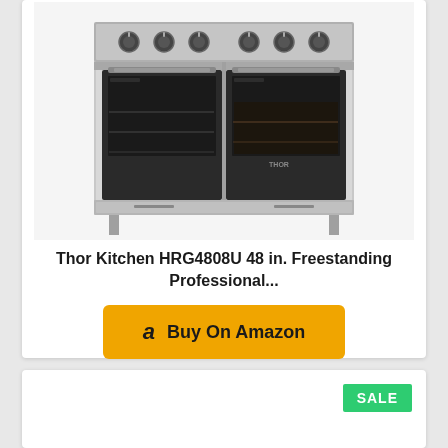[Figure (photo): Thor Kitchen HRG4808U 48-inch stainless steel freestanding professional range with double oven and multiple burner knobs on top]
Thor Kitchen HRG4808U 48 in. Freestanding Professional...
[Figure (other): Buy On Amazon orange button with Amazon logo]
[Figure (other): Second product card with SALE badge, content not visible]